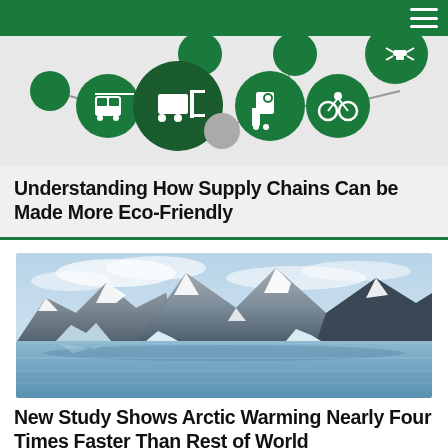[Figure (infographic): Supply chain network infographic showing green circles with icons: tram/bus, forklift with pallet, delivery cart with package, cyclist, drone — connected by lines on a light grey background.]
Understanding How Supply Chains Can be Made More Eco-Friendly
[Figure (photo): Scenic photograph of a polar/arctic landscape with snow-capped mountains, floating icebergs, and reflective blue water under a partly cloudy sky.]
New Study Shows Arctic Warming Nearly Four Times Faster Than Rest of World